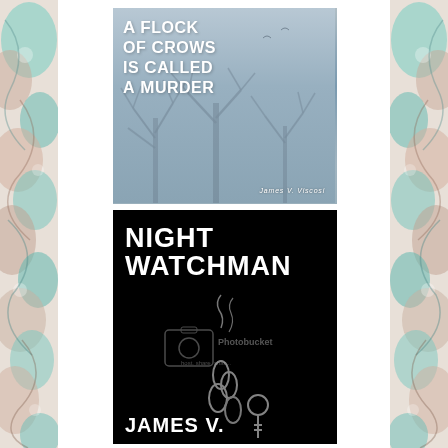[Figure (illustration): Decorative border pattern on left side of page with swirling, colorful design in teal, pink, and beige tones]
[Figure (illustration): Book cover: 'A Flock of Crows is Called a Murder' by James V. Viscosi. Misty blue-grey background with bare winter trees silhouette. White bold text title.]
[Figure (illustration): Book cover: 'Night Watchman' by James V. (Viscosi). Black background with white bold text title. Center shows a Photobucket watermark image with chains/keys. Author name partially visible at bottom.]
[Figure (illustration): Decorative border pattern on right side of page with swirling, colorful design in teal, pink, and beige tones]